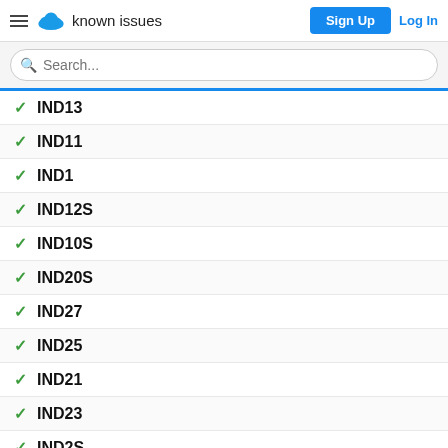known issues | Sign Up | Log In
Search...
IND13
IND11
IND1
IND12S
IND10S
IND20S
IND27
IND25
IND21
IND23
IND2S
IND28S
IND26S
IND24S
IND22S
IND37